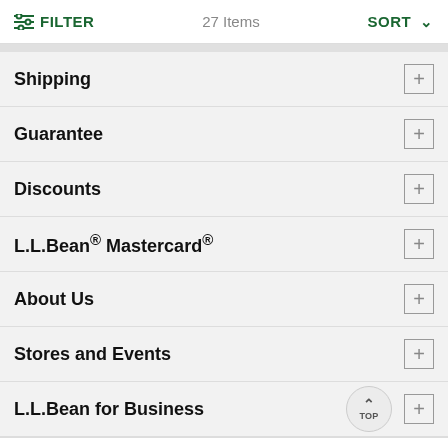FILTER   27 Items   SORT
Shipping
Guarantee
Discounts
L.L.Bean® Mastercard®
About Us
Stores and Events
L.L.Bean for Business
Welcome to llbean.com! We use cookies to provide you with the best possible experience. Check out our privacy policy to learn more.